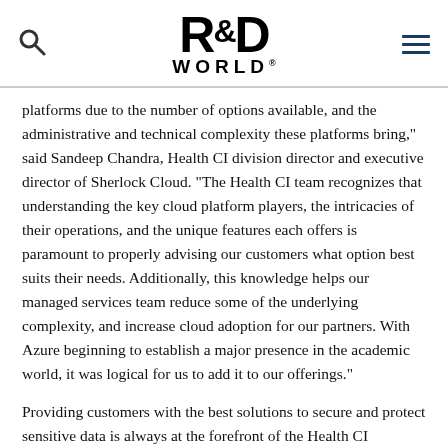R&D WORLD (logo with search and menu icons)
platforms due to the number of options available, and the administrative and technical complexity these platforms bring," said Sandeep Chandra, Health CI division director and executive director of Sherlock Cloud. “The Health CI team recognizes that understanding the key cloud platform players, the intricacies of their operations, and the unique features each offers is paramount to properly advising our customers what option best suits their needs. Additionally, this knowledge helps our managed services team reduce some of the underlying complexity, and increase cloud adoption for our partners. With Azure beginning to establish a major presence in the academic world, it was logical for us to add it to our offerings.”
Providing customers with the best solutions to secure and protect sensitive data is always at the forefront of the Health CI Division’s strategy when identifying next steps in the growing cloud